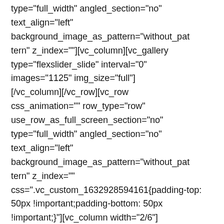type="full_width" angled_section="no" text_align="left" background_image_as_pattern="without_pattern" z_index=""][vc_column][vc_gallery type="flexslider_slide" interval="0" images="1125" img_size="full" onclick=""] [/vc_column][/vc_row][vc_row css_animation="" row_type="row" use_row_as_full_screen_section="no" type="full_width" angled_section="no" text_align="left" background_image_as_pattern="without_pattern" z_index="" css=".vc_custom_1632928594161{padding-top: 50px !important;padding-bottom: 50px !important;}"][vc_column width="2/6"] [vc_column_text] AD MEXICO [/vc_column_text][/vc_column][vc_column